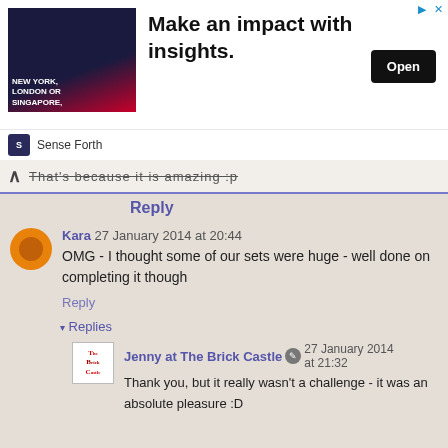[Figure (other): Advertisement banner: 'Make an impact with insights.' with Open button, Sense Forth logo]
That's because it is amazing :p
Reply
Kara 27 January 2014 at 20:44
OMG - I thought some of our sets were huge - well done on completing it though
Reply
Replies
Jenny at The Brick Castle 27 January 2014 at 21:32
Thank you, but it really wasn't a challenge - it was an absolute pleasure :D